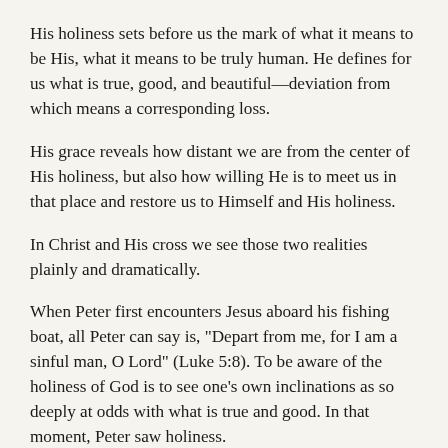His holiness sets before us the mark of what it means to be His, what it means to be truly human. He defines for us what is true, good, and beautiful—deviation from which means a corresponding loss.
His grace reveals how distant we are from the center of His holiness, but also how willing He is to meet us in that place and restore us to Himself and His holiness.
In Christ and His cross we see those two realities plainly and dramatically.
When Peter first encounters Jesus aboard his fishing boat, all Peter can say is, "Depart from me, for I am a sinful man, O Lord" (Luke 5:8). To be aware of the holiness of God is to see one's own inclinations as so deeply at odds with what is true and good. In that moment, Peter saw holiness.